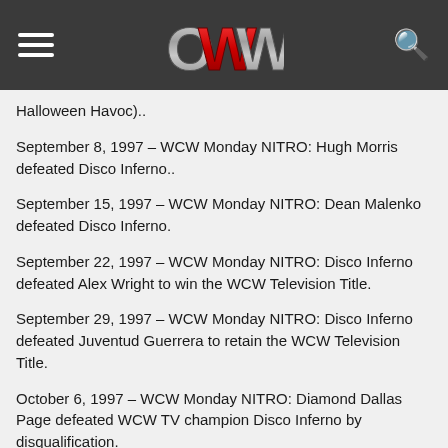OWW (Online World of Wrestling) navigation header with hamburger menu, OWW logo, and search icon
Halloween Havoc)..
September 8, 1997 – WCW Monday NITRO: Hugh Morris defeated Disco Inferno..
September 15, 1997 – WCW Monday NITRO: Dean Malenko defeated Disco Inferno.
September 22, 1997 – WCW Monday NITRO: Disco Inferno defeated Alex Wright to win the WCW Television Title.
September 29, 1997 – WCW Monday NITRO: Disco Inferno defeated Juventud Guerrera to retain the WCW Television Title.
October 6, 1997 – WCW Monday NITRO: Diamond Dallas Page defeated WCW TV champion Disco Inferno by disqualification.
October 11, 1997 – Saturday Night: Disco Inferno